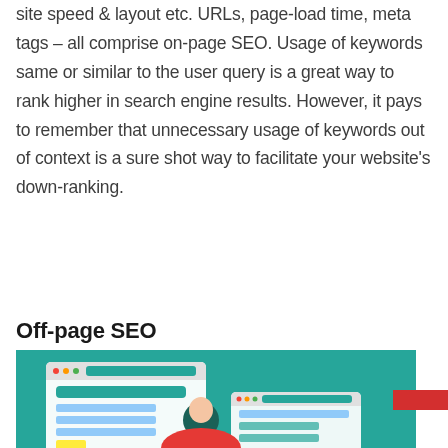site speed & layout etc. URLs, page-load time, meta tags – all comprise on-page SEO. Usage of keywords same or similar to the user query is a great way to rank higher in search engine results. However, it pays to remember that unnecessary usage of keywords out of context is a sure shot way to facilitate your website's down-ranking.
Off-page SEO
[Figure (illustration): Illustration of web browsers and devices on a teal/green background representing off-page SEO concept]